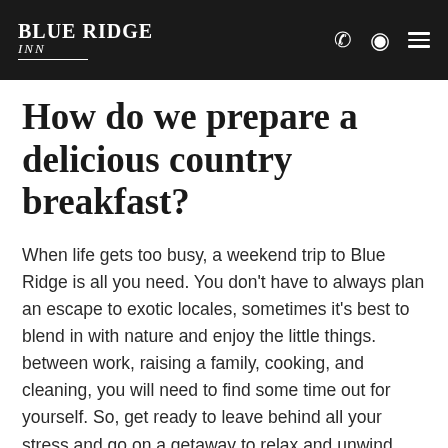Blue Ridge Inn
How do we prepare a delicious country breakfast?
When life gets too busy, a weekend trip to Blue Ridge is all you need. You don't have to always plan an escape to exotic locales, sometimes it's best to blend in with nature and enjoy the little things. between work, raising a family, cooking, and cleaning, you will need to find some time out for yourself. So, get ready to leave behind all your stress and go on a getaway to relax and unwind.
From being served a home-cooked scrumptious